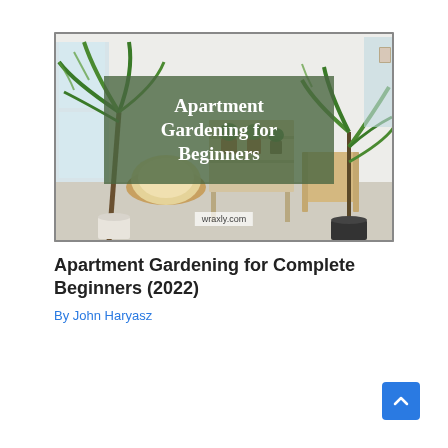[Figure (photo): Apartment interior with various houseplants including large palms and smaller potted plants on shelving, a papasan chair, and wooden furniture. A green semi-transparent overlay banner in the center reads 'Apartment Gardening for Beginners' in white serif font. The watermark 'wraxly.com' appears at the bottom center.]
Apartment Gardening for Complete Beginners (2022)
By John Haryasz